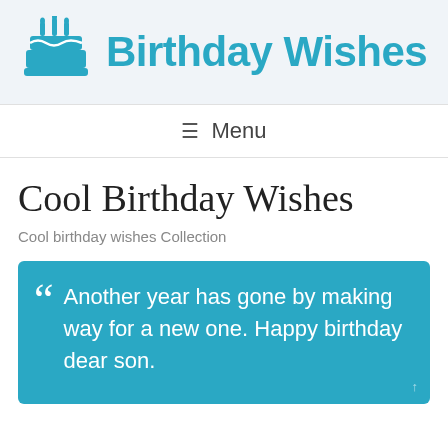Birthday Wishes
≡ Menu
Cool Birthday Wishes
Cool birthday wishes Collection
Another year has gone by making way for a new one. Happy birthday dear son.